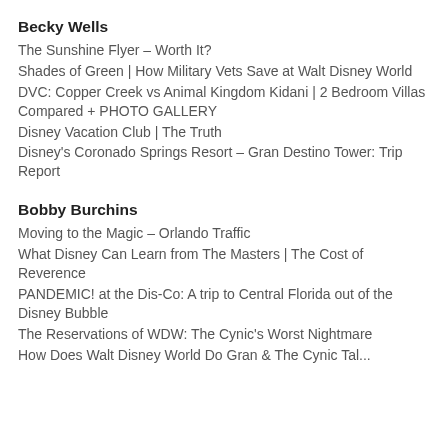Becky Wells
The Sunshine Flyer – Worth It?
Shades of Green | How Military Vets Save at Walt Disney World
DVC: Copper Creek vs Animal Kingdom Kidani | 2 Bedroom Villas Compared + PHOTO GALLERY
Disney Vacation Club | The Truth
Disney's Coronado Springs Resort – Gran Destino Tower: Trip Report
Bobby Burchins
Moving to the Magic – Orlando Traffic
What Disney Can Learn from The Masters | The Cost of Reverence
PANDEMIC! at the Dis-Co: A trip to Central Florida out of the Disney Bubble
The Reservations of WDW: The Cynic's Worst Nightmare
How Does Walt Disney World Do Gran & The Cynic Takes...